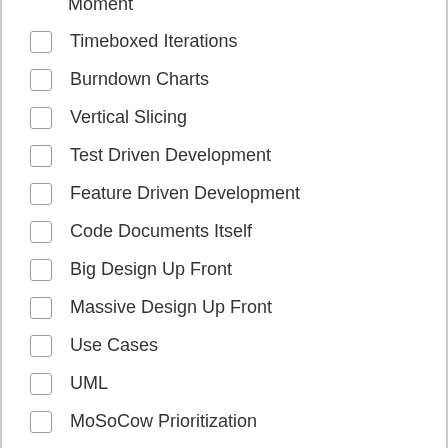Moment
Timeboxed Iterations
Burndown Charts
Vertical Slicing
Test Driven Development
Feature Driven Development
Code Documents Itself
Big Design Up Front
Massive Design Up Front
Use Cases
UML
MoSoCow Prioritization